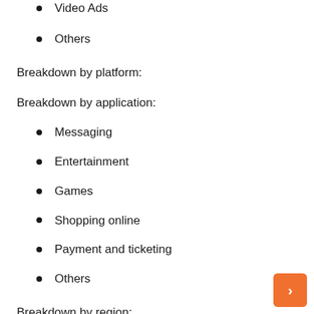Video Ads
Others
Breakdown by platform:
Breakdown by application:
Messaging
Entertainment
Games
Shopping online
Payment and ticketing
Others
Breakdown by region: